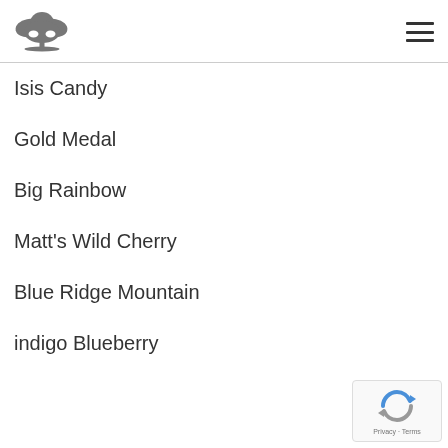[Figure (logo): Tree/palmetto logo in gray]
Isis Candy
Gold Medal
Big Rainbow
Matt's Wild Cherry
Blue Ridge Mountain
indigo Blueberry
[Figure (logo): reCAPTCHA badge with Privacy and Terms links]